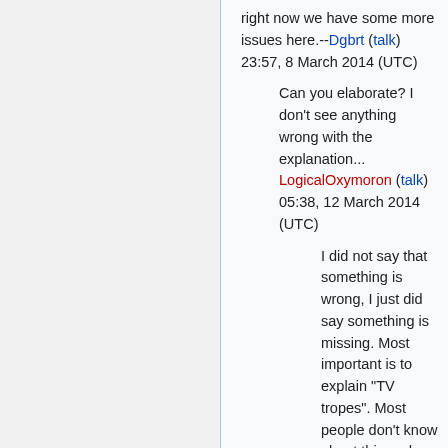right now we have some more issues here.--Dgbrt (talk) 23:57, 8 March 2014 (UTC)
Can you elaborate? I don't see anything wrong with the explanation... LogicalOxymoron (talk) 05:38, 12 March 2014 (UTC)
I did not say that something is wrong, I just did say something is missing. Most important is to explain "TV tropes". Most people don't know about this and